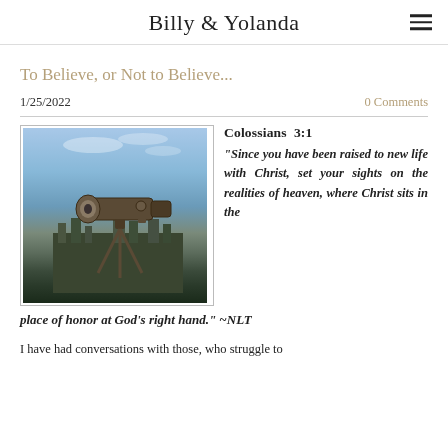Billy & Yolanda
To Believe, or Not to Believe...
1/25/2022
0 Comments
[Figure (photo): A coin-operated viewfinder/telescope on an observation deck with a wide city panorama and blue sky with clouds in the background.]
Colossians 3:1 "Since you have been raised to new life with Christ, set your sights on the realities of heaven, where Christ sits in the place of honor at God’s right hand." ~NLT
I have had conversations with those, who struggle to